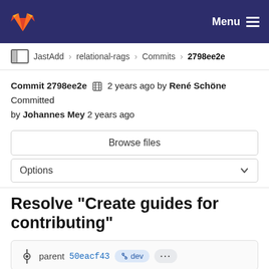GitLab — Menu
JastAdd › relational-rags › Commits › 2798ee2e
Commit 2798ee2e  2 years ago by René Schöne Committed by Johannes Mey 2 years ago
Browse files
Options
Resolve "Create guides for contributing"
parent 50eacf43  dev  ...